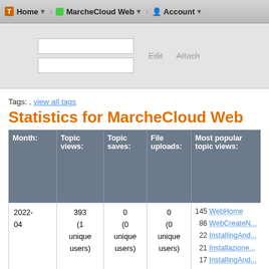Home | MarcheCloud Web | Account
Tags: , view all tags
Statistics for MarcheCloud Web
| Month: | Topic views: | Topic saves: | File uploads: | Most popular topic views: |
| --- | --- | --- | --- | --- |
| 2022-04 | 393 (1 unique users) | 0 (0 unique users) | 0 (0 unique users) | 145 WebHome
86 WebCreateN...
22 InstallingAnd...
21 Installazione...
17 InstallingAnd...
16 InstallingAnd...
14 CratingOpen...
10 OpenStackU... |